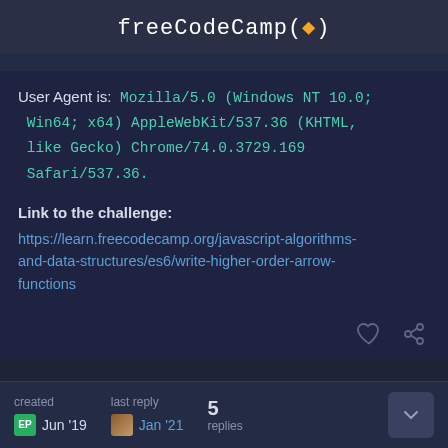freeCodeCamp(🔥)
User Agent is: Mozilla/5.0 (Windows NT 10.0; Win64; x64) AppleWebKit/537.36 (KHTML, like Gecko) Chrome/74.0.3729.169 Safari/537.36.
Link to the challenge:
https://learn.freecodecamp.org/javascript-algorithms-and-data-structures/es6/write-higher-order-arrow-functions
created Jun '19  last reply Jan '21  5 replies